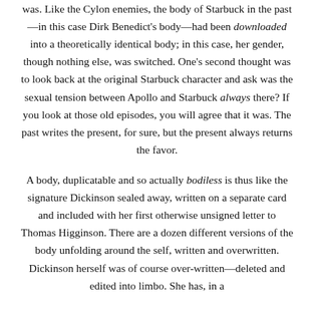was. Like the Cylon enemies, the body of Starbuck in the past—in this case Dirk Benedict's body—had been downloaded into a theoretically identical body; in this case, her gender, though nothing else, was switched. One's second thought was to look back at the original Starbuck character and ask was the sexual tension between Apollo and Starbuck always there? If you look at those old episodes, you will agree that it was. The past writes the present, for sure, but the present always returns the favor.
A body, duplicatable and so actually bodiless is thus like the signature Dickinson sealed away, written on a separate card and included with her first otherwise unsigned letter to Thomas Higginson. There are a dozen different versions of the body unfolding around the self, written and overwritten. Dickinson herself was of course over-written—deleted and edited into limbo. She has, in a